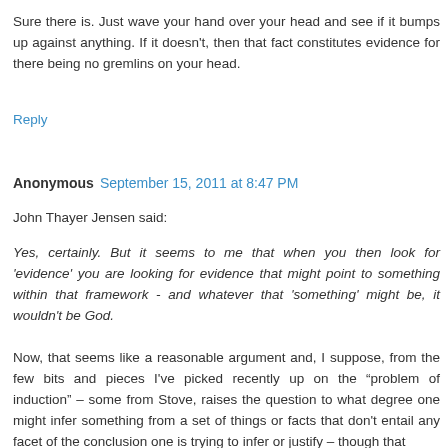Sure there is. Just wave your hand over your head and see if it bumps up against anything. If it doesn't, then that fact constitutes evidence for there being no gremlins on your head.
Reply
Anonymous September 15, 2011 at 8:47 PM
John Thayer Jensen said:
Yes, certainly. But it seems to me that when you then look for 'evidence' you are looking for evidence that might point to something within that framework - and whatever that 'something' might be, it wouldn't be God.
Now, that seems like a reasonable argument and, I suppose, from the few bits and pieces I've picked recently up on the “problem of induction” – some from Stove, raises the question to what degree one might infer something from a set of things or facts that don't entail any facet of the conclusion one is trying to infer or justify – though that